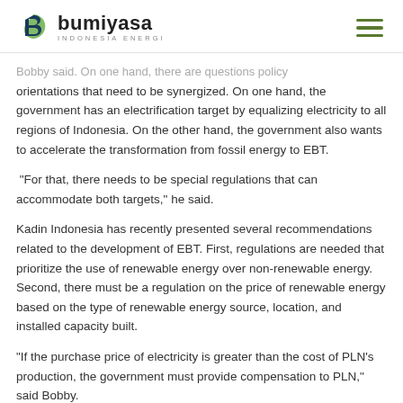bumiyasa INDONESIA ENERGI
Bobby said. On one hand, there are questions policy orientations that need to be synergized. On one hand, the government has an electrification target by equalizing electricity to all regions of Indonesia. On the other hand, the government also wants to accelerate the transformation from fossil energy to EBT.
"For that, there needs to be special regulations that can accommodate both targets," he said.
Kadin Indonesia has recently presented several recommendations related to the development of EBT. First, regulations are needed that prioritize the use of renewable energy over non-renewable energy. Second, there must be a regulation on the price of renewable energy based on the type of renewable energy source, location, and installed capacity built.
"If the purchase price of electricity is greater than the cost of PLN's production, the government must provide compensation to PLN," said Bobby.